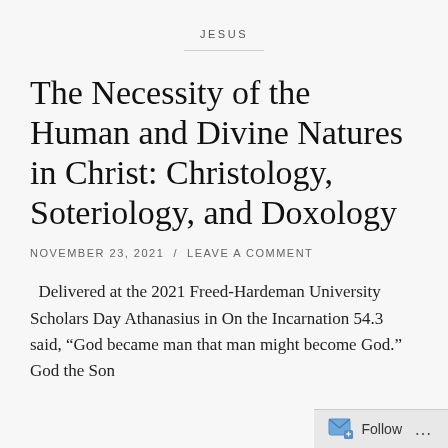JESUS
The Necessity of the Human and Divine Natures in Christ: Christology, Soteriology, and Doxology
NOVEMBER 23, 2021  /  LEAVE A COMMENT
Delivered at the 2021 Freed-Hardeman University Scholars Day Athanasius in On the Incarnation 54.3 said, “God became man that man might become God.” God the Son